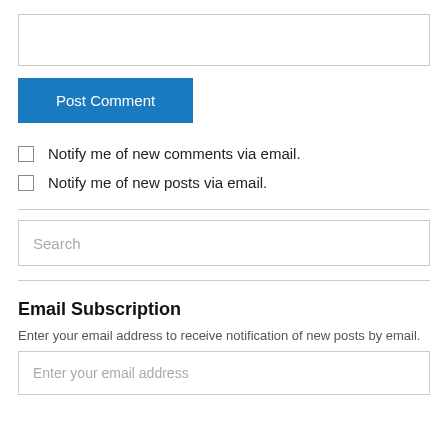[Figure (other): Empty text input box at the top of the page]
Post Comment
Notify me of new comments via email.
Notify me of new posts via email.
[Figure (other): Search input box with placeholder text 'Search']
Email Subscription
Enter your email address to receive notification of new posts by email.
[Figure (other): Email input box with placeholder text 'Enter your email address']